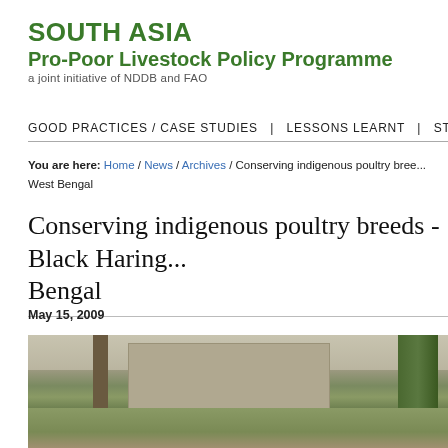SOUTH ASIA
Pro-Poor Livestock Policy Programme
a joint initiative of NDDB and FAO
GOOD PRACTICES / CASE STUDIES  |  LESSONS LEARNT  |  STORIES
You are here: Home / News / Archives / Conserving indigenous poultry breeds - Black Haring... West Bengal
Conserving indigenous poultry breeds - Black Haring... Bengal
May 15, 2009
[Figure (photo): Outdoor scene with trees, a wall structure, and grass ground — likely a rural poultry farm setting in West Bengal]